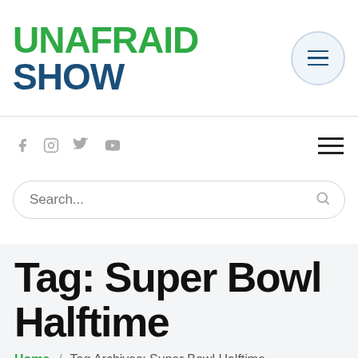UNAFRAID SHOW
[Figure (other): Hamburger menu button inside a circle outline]
[Figure (other): Social media icons: Facebook, Instagram, Twitter, YouTube]
[Figure (other): Flat hamburger menu icon (three horizontal lines)]
Search...
Tag: Super Bowl Halftime
Home / Tag Archives: Super Bowl Halftime